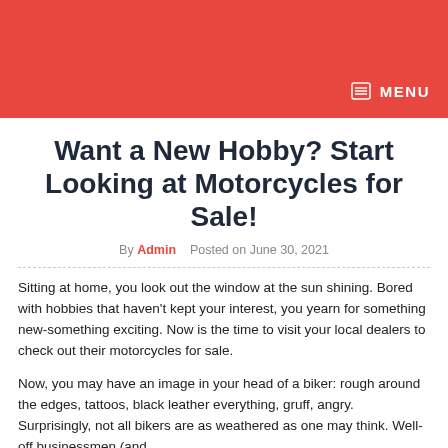MENU
Want a New Hobby? Start Looking at Motorcycles for Sale!
By Admin   Posted on June 30, 2021
Sitting at home, you look out the window at the sun shining. Bored with hobbies that haven't kept your interest, you yearn for something new-something exciting. Now is the time to visit your local dealers to check out their motorcycles for sale.
Now, you may have an image in your head of a biker: rough around the edges, tattoos, black leather everything, gruff, angry. Surprisingly, not all bikers are as weathered as one may think. Well-off businessmen (and